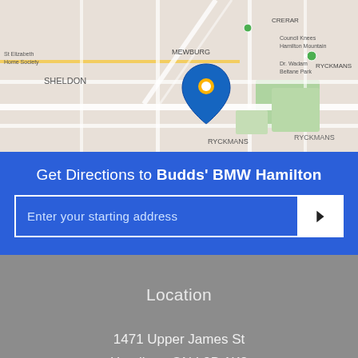[Figure (map): Google Maps view showing area around 1471 Upper James St, Hamilton, Ontario. Neighborhoods labeled include Sheldon, Mewburg, Ryckmans, Crerar. Streets visible. Blue map pin marker at dealership location.]
Get Directions to Budds' BMW Hamilton
Enter your starting address
Location
1471 Upper James St
Hamilton, ON L9B 1K2
Contact Us